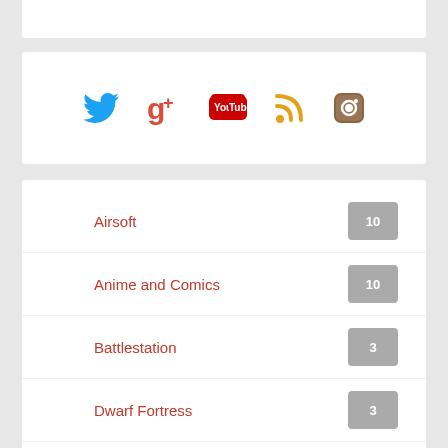[Figure (infographic): Social media icons: Twitter (blue bird), Google+ (red), YouTube (red), RSS (orange), Instagram (brown camera)]
Airsoft  10
Anime and Comics  10
Battlestation  3
Dwarf Fortress  3
Final Fantasy  17
Final Fantasy Record Keeper  23
Gaming  (partially visible)